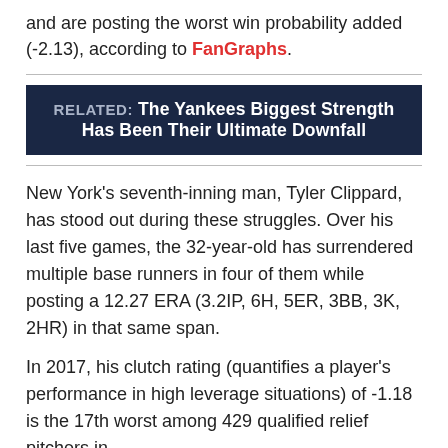and are posting the worst win probability added (-2.13), according to FanGraphs.
RELATED: The Yankees Biggest Strength Has Been Their Ultimate Downfall
New York's seventh-inning man, Tyler Clippard, has stood out during these struggles. Over his last five games, the 32-year-old has surrendered multiple base runners in four of them while posting a 12.27 ERA (3.2IP, 6H, 5ER, 3BB, 3K, 2HR) in that same span.
In 2017, his clutch rating (quantifies a player's performance in high leverage situations) of -1.18 is the 17th worst among 429 qualified relief pitchers in